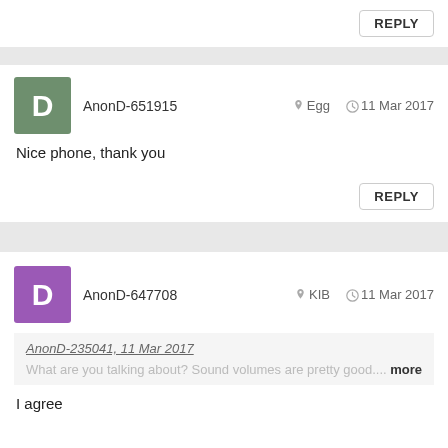REPLY
AnonD-651915   Egg   11 Mar 2017
Nice phone, thank you
REPLY
AnonD-647708   KIB   11 Mar 2017
AnonD-235041, 11 Mar 2017
What are you talking about? Sound volumes are pretty good.... more
I agree